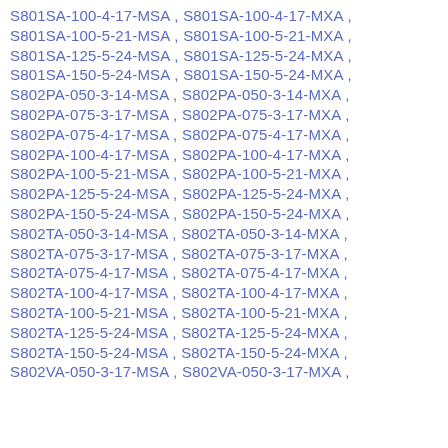S801SA-100-4-17-MSA , S801SA-100-4-17-MXA ,
S801SA-100-5-21-MSA , S801SA-100-5-21-MXA ,
S801SA-125-5-24-MSA , S801SA-125-5-24-MXA ,
S801SA-150-5-24-MSA , S801SA-150-5-24-MXA ,
S802PA-050-3-14-MSA , S802PA-050-3-14-MXA ,
S802PA-075-3-17-MSA , S802PA-075-3-17-MXA ,
S802PA-075-4-17-MSA , S802PA-075-4-17-MXA ,
S802PA-100-4-17-MSA , S802PA-100-4-17-MXA ,
S802PA-100-5-21-MSA , S802PA-100-5-21-MXA ,
S802PA-125-5-24-MSA , S802PA-125-5-24-MXA ,
S802PA-150-5-24-MSA , S802PA-150-5-24-MXA ,
S802TA-050-3-14-MSA , S802TA-050-3-14-MXA ,
S802TA-075-3-17-MSA , S802TA-075-3-17-MXA ,
S802TA-075-4-17-MSA , S802TA-075-4-17-MXA ,
S802TA-100-4-17-MSA , S802TA-100-4-17-MXA ,
S802TA-100-5-21-MSA , S802TA-100-5-21-MXA ,
S802TA-125-5-24-MSA , S802TA-125-5-24-MXA ,
S802TA-150-5-24-MSA , S802TA-150-5-24-MXA ,
S802VA-050-3-17-MSA , S802VA-050-3-17-MXA ,